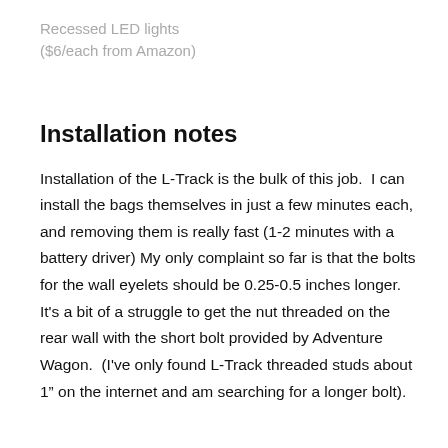Recessed LED lights ($6/each from Amazon)
Installation notes
Installation of the L-Track is the bulk of this job.  I can install the bags themselves in just a few minutes each, and removing them is really fast (1-2 minutes with a battery driver) My only complaint so far is that the bolts for the wall eyelets should be 0.25-0.5 inches longer.  It's a bit of a struggle to get the nut threaded on the rear wall with the short bolt provided by Adventure Wagon.  (I've only found L-Track threaded studs about 1” on the internet and am searching for a longer bolt).